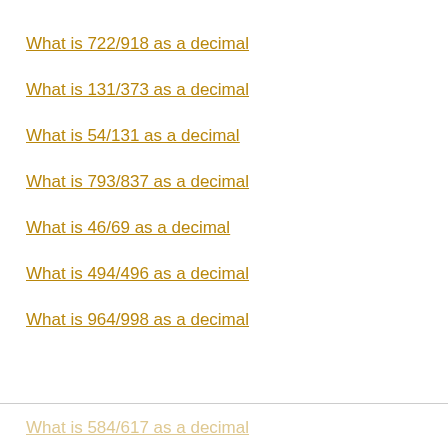What is 722/918 as a decimal
What is 131/373 as a decimal
What is 54/131 as a decimal
What is 793/837 as a decimal
What is 46/69 as a decimal
What is 494/496 as a decimal
What is 964/998 as a decimal
What is 584/617 as a decimal